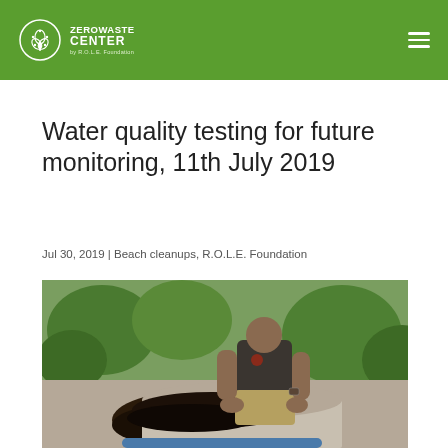ZEROWASTE CENTER by R.O.L.E. Foundation
Water quality testing for future monitoring, 11th July 2019
Jul 30, 2019 | Beach cleanups, R.O.L.E. Foundation
[Figure (photo): A person handling composting or organic waste material outdoors, surrounded by plants and greenery.]